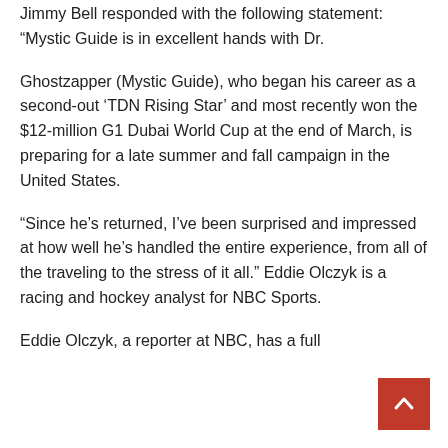Jimmy Bell responded with the following statement: “Mystic Guide is in excellent hands with Dr.
Ghostzapper (Mystic Guide), who began his career as a second-out ‘TDN Rising Star’ and most recently won the $12-million G1 Dubai World Cup at the end of March, is preparing for a late summer and fall campaign in the United States.
“Since he’s returned, I’ve been surprised and impressed at how well he’s handled the entire experience, from all of the traveling to the stress of it all.” Eddie Olczyk is a racing and hockey analyst for NBC Sports.
Eddie Olczyk, a reporter at NBC, has a full